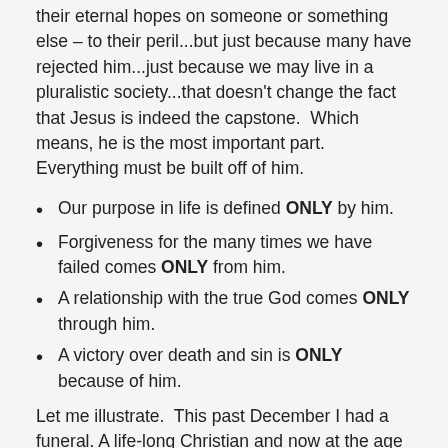their eternal hopes on someone or something else – to their peril...but just because many have rejected him...just because we may live in a pluralistic society...that doesn't change the fact that Jesus is indeed the capstone.  Which means, he is the most important part.  Everything must be built off of him.
Our purpose in life is defined ONLY by him.
Forgiveness for the many times we have failed comes ONLY from him.
A relationship with the true God comes ONLY through him.
A victory over death and sin is ONLY because of him.
Let me illustrate.  This past December I had a funeral.  A life-long Christian and now at the age of 88, his body was wearing down and eventually, he fell asleep.